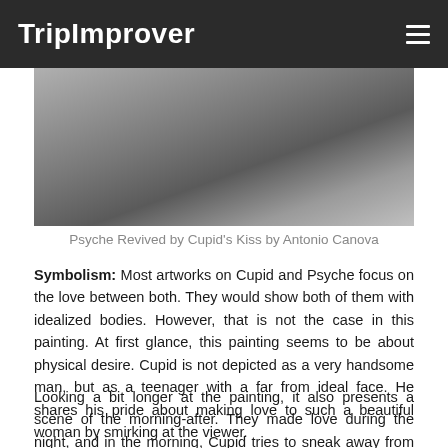TripImprover
[Figure (photo): Grayscale photograph or sculpture detail showing intertwined figures — partial view of Psyche Revived by Cupid's Kiss by Antonio Canova]
Psyche Revived by Cupid's Kiss by Antonio Canova
Symbolism: Most artworks on Cupid and Psyche focus on the love between both. They would show both of them with idealized bodies. However, that is not the case in this painting. At first glance, this painting seems to be about physical desire. Cupid is not depicted as a very handsome man, but as a teenager with a far from ideal face. He shares his pride about making love to such a beautiful woman by smirking at the viewer.
Looking a bit longer at the painting, it also presents a scene of the morning-after. They made love during the night, and in the morning, Cupid tries to sneak away from Psyche without saying goodbye. There has been quite